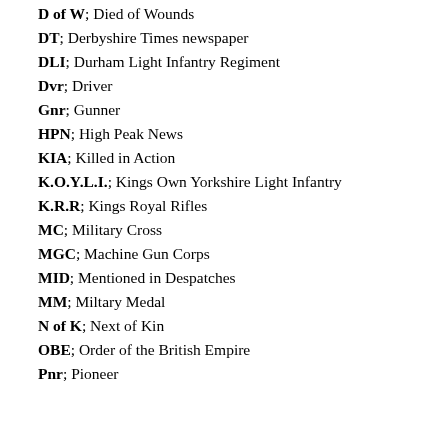D of W; Died of Wounds
DT; Derbyshire Times newspaper
DLI; Durham Light Infantry Regiment
Dvr; Driver
Gnr; Gunner
HPN; High Peak News
KIA; Killed in Action
K.O.Y.L.I.; Kings Own Yorkshire Light Infantry
K.R.R; Kings Royal Rifles
MC; Military Cross
MGC; Machine Gun Corps
MID; Mentioned in Despatches
MM; Miltary Medal
N of K; Next of Kin
OBE; Order of the British Empire
Pnr; Pioneer